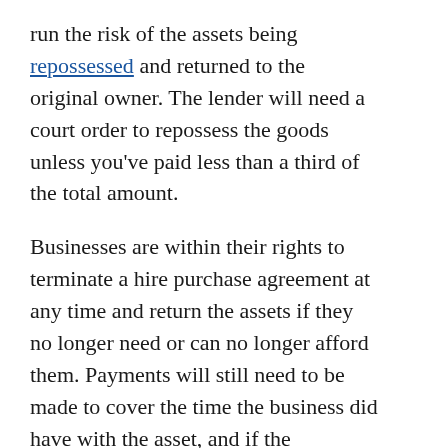run the risk of the assets being repossessed and returned to the original owner. The lender will need a court order to repossess the goods unless you've paid less than a third of the total amount.
Businesses are within their rights to terminate a hire purchase agreement at any time and return the assets if they no longer need or can no longer afford them. Payments will still need to be made to cover the time the business did have with the asset, and if the payments at the time of termination fall below half the value of the asset, the business may be required to make additional payments to meet an agreed-upon minimum. A business will never be required to pay the entire amount of an asset they have returned.